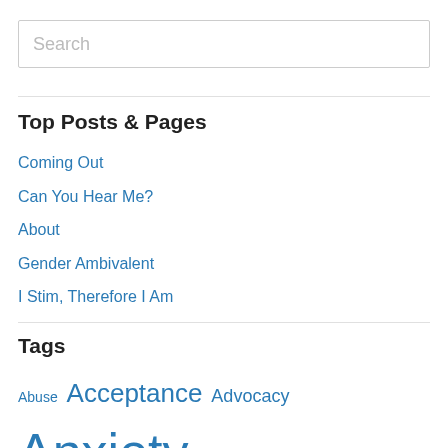Search
Top Posts & Pages
Coming Out
Can You Hear Me?
About
Gender Ambivalent
I Stim, Therefore I Am
Tags
Abuse Acceptance Advocacy Anxiety Art Bio Bullying Communication Depression Disability Emotion